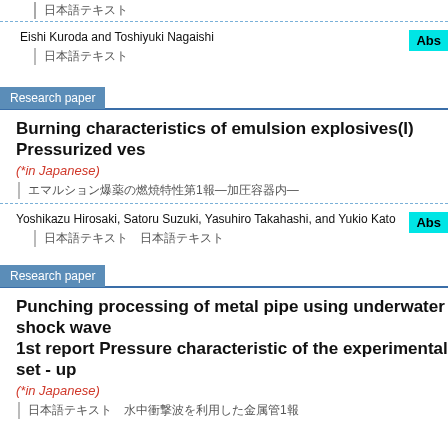日本語テキスト
Eishi Kuroda and Toshiyuki Nagaishi
日本語テキスト
Research paper
Burning characteristics of emulsion explosives(I) Pressurized ves
(*in Japanese)
エマルション爆薬の燃焼特性第1報—加圧容器内—
Yoshikazu Hirosaki, Satoru Suzuki, Yasuhiro Takahashi, and Yukio Kato
日本語　日本語テキスト
Research paper
Punching processing of metal pipe using underwater shock wave
1st report Pressure characteristic of the experimental set - up
(*in Japanese)
日本語テキスト　水中衝撃波を利用した金属管1報